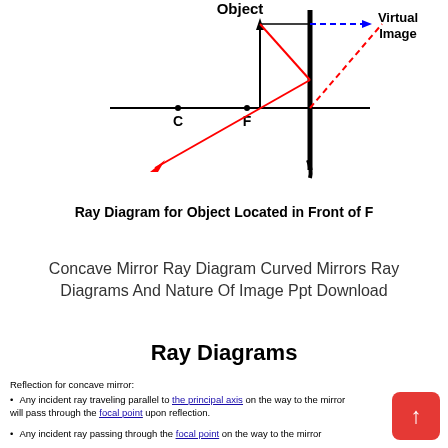[Figure (schematic): Ray diagram for a concave mirror with object located in front of F. Shows principal axis with points C and F marked, a vertical mirror on the right, an upright object arrow near F, a dashed blue arrow indicating virtual image to the right of the mirror, a red ray reflecting off the mirror going down-left, and a dashed red ray extending behind the mirror to the upper right. 'Object' label at top center, 'Virtual Image' label at top right.]
Ray Diagram for Object Located in Front of F
Concave Mirror Ray Diagram Curved Mirrors Ray Diagrams And Nature Of Image Ppt Download
Ray Diagrams
Reflection for concave mirror:
Any incident ray traveling parallel to the principal axis on the way to the mirror will pass through the focal point upon reflection.
Any incident ray passing through the focal point on the way to the mirror